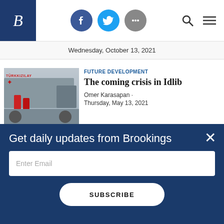Brookings Institution website header with logo, social icons, search and menu
Wednesday, October 13, 2021
[Figure (photo): Red Crescent aid truck with workers in red uniforms (Turk Kizilay)]
FUTURE DEVELOPMENT
The coming crisis in Idlib
Omer Karasapan  ·
Thursday, May 13, 2021
[Figure (photo): Street scene showing a Syrian business storefront with Arabic script signage]
FUTURE DEVELOPMENT
Challenges facing Turkey's Syrian businesses
Get daily updates from Brookings
Enter Email
SUBSCRIBE